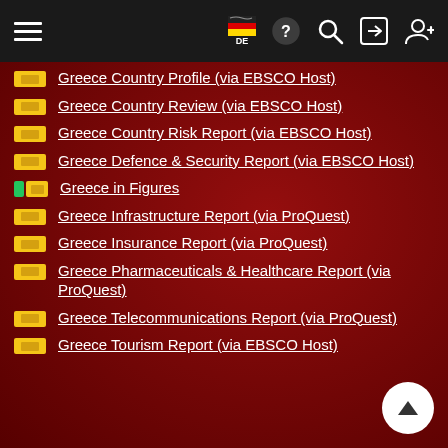Navigation header with hamburger menu, DE flag, help, search, login, and add user icons
Greece Country Profile (via EBSCO Host)
Greece Country Review (via EBSCO Host)
Greece Country Risk Report (via EBSCO Host)
Greece Defence & Security Report (via EBSCO Host)
Greece in Figures
Greece Infrastructure Report (via ProQuest)
Greece Insurance Report (via ProQuest)
Greece Pharmaceuticals & Healthcare Report (via ProQuest)
Greece Telecommunications Report (via ProQuest)
Greece Tourism Report (via EBSCO Host)